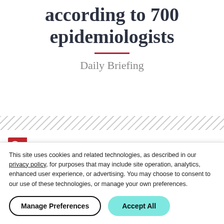according to 700 epidemiologists
Daily Briefing
[Figure (other): Diagonal hatched decorative bar divider]
he 105 best hospitals, according to Leapfrog; how
This site uses cookies and related technologies, as described in our privacy policy, for purposes that may include site operation, analytics, enhanced user experience, or advertising. You may choose to consent to our use of these technologies, or manage your own preferences.
Manage Preferences
Accept All